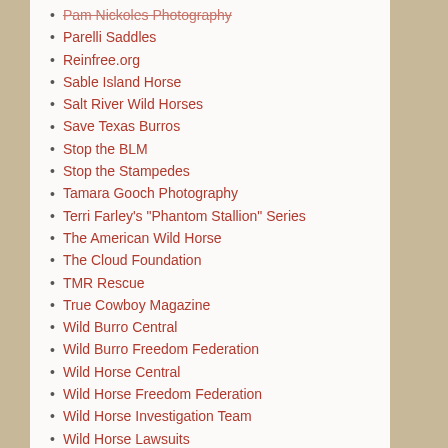Pam Nickoles Photography
Parelli Saddles
Reinfree.org
Sable Island Horse
Salt River Wild Horses
Save Texas Burros
Stop the BLM
Stop the Stampedes
Tamara Gooch Photography
Terri Farley's "Phantom Stallion" Series
The American Wild Horse
The Cloud Foundation
TMR Rescue
True Cowboy Magazine
Wild Burro Central
Wild Burro Freedom Federation
Wild Horse Central
Wild Horse Freedom Federation
Wild Horse Investigation Team
Wild Horse Lawsuits
Wild Horse Litigation
Wild Horse Protection
Wild Horse Warriors